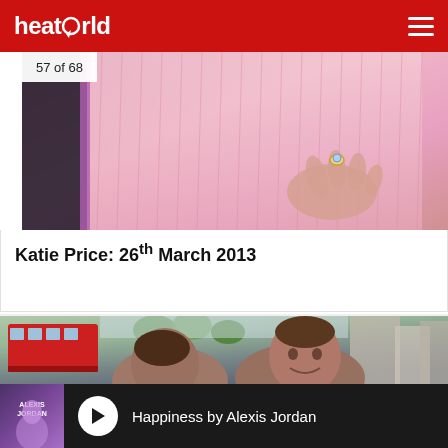heatworld
[Figure (photo): Close-up photo of Katie Price wearing a pink feathered/fringed outfit, showing her hand with a ring visible]
57 of 68
Katie Price: 26th March 2013
[Figure (photo): Photo of a couple outdoors in London with a red double-decker bus in the background and trees visible]
Happiness by Alexis Jordan